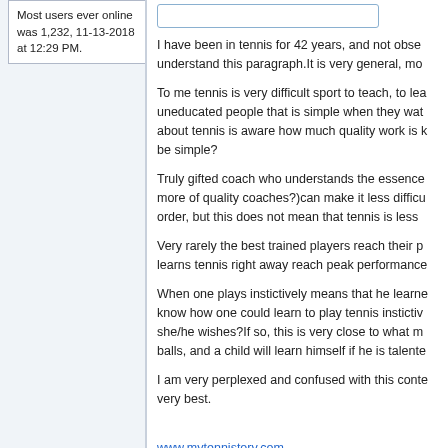Most users ever online was 1,232, 11-13-2018 at 12:29 PM.
I have been in tennis for 42 years, and not obse understand this paragraph.It is very general, mo
To me tennis is very difficult sport to teach, to lea uneducated people that is simple when they wat about tennis is aware how much quality work is k be simple?
Truly gifted coach who understands the essence more of quality coaches?)can make it less difficu order, but this does not mean that tennis is less
Very rarely the best trained players reach their p learns tennis right away reach peak performance
When one plays instictively means that he learne know how one could learn to play tennis instictiv she/he wishes?If so, this is very close to what m balls, and a child will learn himself if he is talente
I am very perplexed and confused with this conte very best.
www.mytennistory.com
In Depth Description of Bringing a Child Up So